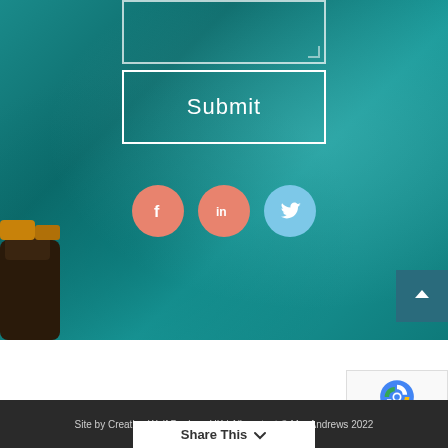[Figure (screenshot): Teal/dark cyan underwater background with rock in bottom left, showing a web form section with a textarea outline at top, a Submit button with white border, three social media icon circles (Facebook salmon, LinkedIn salmon, Twitter light blue), and a scroll-up arrow button in bottom right]
Site by Creative Wolf Designs UK | All content © M... Andrews 2022
Share This